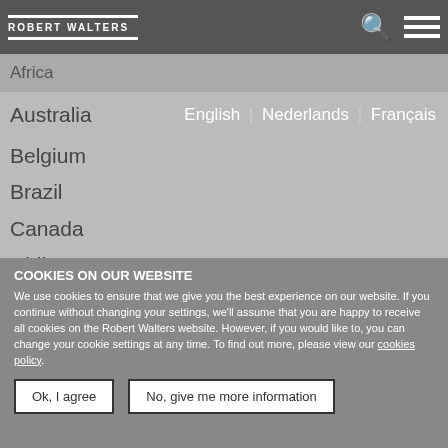Our locations | Robert Walters
Africa
Australia | English | Nederlands | Français
Belgium
Brazil
Canada
Chile
Mainland China
France
Germany
Hong Kong
Indonesia
COOKIES ON OUR WEBSITE
We use cookies to ensure that we give you the best experience on our website. If you continue without changing your settings, we'll assume that you are happy to receive all cookies on the Robert Walters website. However, if you would like to, you can change your cookie settings at any time. To find out more, please view our cookies policy.
Ok, I agree | No, give me more information